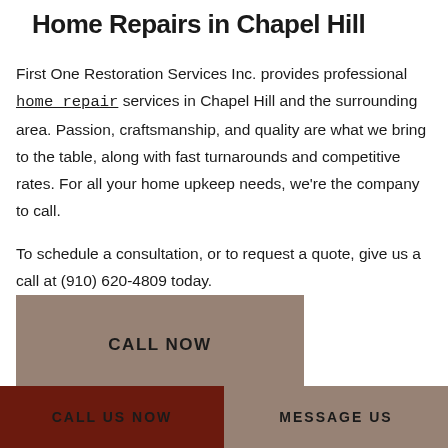Home Repairs in Chapel Hill
First One Restoration Services Inc. provides professional home repair services in Chapel Hill and the surrounding area. Passion, craftsmanship, and quality are what we bring to the table, along with fast turnarounds and competitive rates. For all your home upkeep needs, we're the company to call.
To schedule a consultation, or to request a quote, give us a call at (910) 620-4809 today.
[Figure (other): CALL NOW button — a rectangular tan/taupe colored button]
[Figure (other): Bottom bar with two buttons: CALL US NOW (dark red/maroon) on the left and MESSAGE US (tan/taupe) on the right]